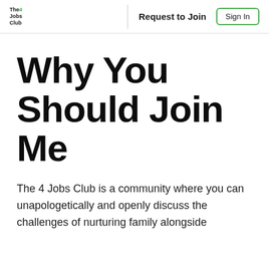The 4 Jobs Club | Request to Join | Sign In
Why You Should Join Me
The 4 Jobs Club is a community where you can unapologetically and openly discuss the challenges of nurturing family alongside